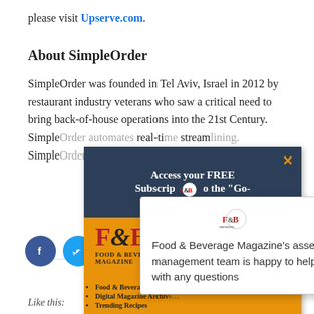please visit Upserve.com.
About SimpleOrder
SimpleOrder was founded in Tel Aviv, Israel in 2012 by restaurant industry veterans who saw a critical need to bring back-of-house operations into the 21st Century. SimpleOrder automates real-time streaming. SimpleOrder over 25 operations.
[Figure (screenshot): F&B Magazine popup overlay with orange background, logo, menu links, and FREE subscription CTA button with close X]
[Figure (screenshot): White popup overlay with F&B Magazine logo and text: Food & Beverage Magazine's asset management team is happy to help with any questions]
[Figure (infographic): Row of social sharing icons: Facebook (blue), Twitter (blue), Pinterest (red), Email (grey), Print (grey)]
[Figure (infographic): Dark red circular chat button at bottom right]
Like this: